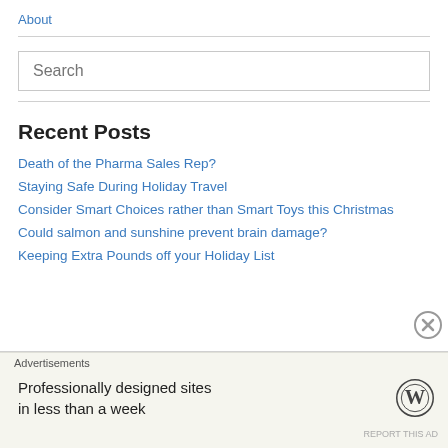About
Recent Posts
Death of the Pharma Sales Rep?
Staying Safe During Holiday Travel
Consider Smart Choices rather than Smart Toys this Christmas
Could salmon and sunshine prevent brain damage?
Keeping Extra Pounds off your Holiday List
Advertisements
Professionally designed sites in less than a week